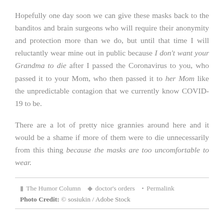Hopefully one day soon we can give these masks back to the banditos and brain surgeons who will require their anonymity and protection more than we do, but until that time I will reluctantly wear mine out in public because I don't want your Grandma to die after I passed the Coronavirus to you, who passed it to your Mom, who then passed it to her Mom like the unpredictable contagion that we currently know COVID-19 to be.

There are a lot of pretty nice grannies around here and it would be a shame if more of them were to die unnecessarily from this thing because the masks are too uncomfortable to wear.
The Humor Column  doctor's orders  Permalink
Photo Credit: © sosiukin / Adobe Stock